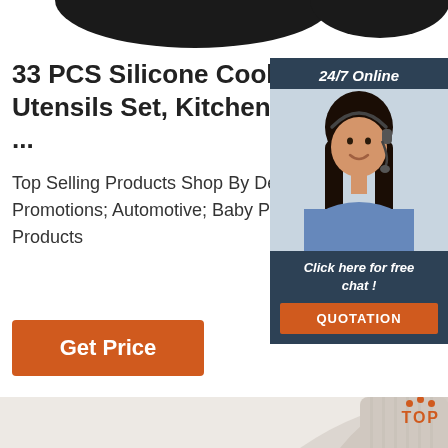[Figure (photo): Top portion of dark cooking utensils/pots visible at top of page]
33 PCS Silicone Cooking Utensils Set, Kitchen Utensils ...
Top Selling Products Shop By Department Promotions; Automotive; Baby Products
[Figure (photo): Chat widget sidebar with woman wearing headset, 24/7 Online label, Click here for free chat!, and QUOTATION button]
Get Price
[Figure (photo): Bottom section showing beige/cream colored product (cup/container) on light background with orange TOP logo in corner]